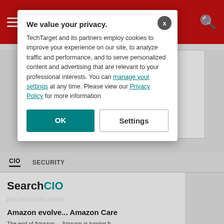ComputerWeekly.com
-ADS BY GOOGLE
CIO   SECURITY
SearchCIO
Amazon evolve... Amazon Care
The end of Amazon ... Amazon is turning fr...
How CIOs and h... sustainability
We value your privacy. TechTarget and its partners employ cookies to improve your experience on our site, to analyze traffic and performance, and to serve personalized content and advertising that are relevant to your professional interests. You can manage your settings at any time. Please view our Privacy Policy for more information